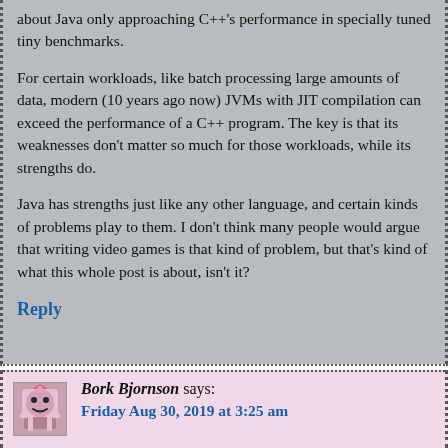about Java only approaching C++'s performance in specially tuned tiny benchmarks.

For certain workloads, like batch processing large amounts of data, modern (10 years ago now) JVMs with JIT compilation can exceed the performance of a C++ program. The key is that its weaknesses don't matter so much for those workloads, while its strengths do.

Java has strengths just like any other language, and certain kinds of problems play to them. I don't think many people would argue that writing video games is that kind of problem, but that's kind of what this whole post is about, isn't it?
Reply
Bork Bjornson says:
Friday Aug 30, 2019 at 3:25 am